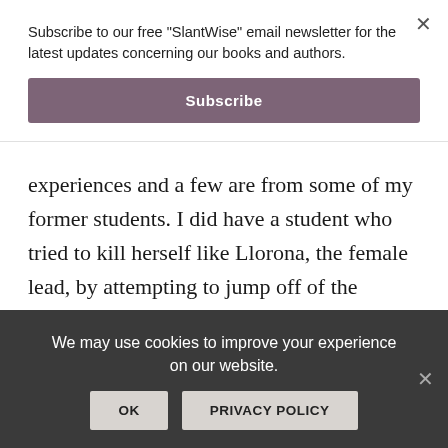Subscribe to our free "SlantWise" email newsletter for the latest updates concerning our books and authors.
Subscribe
experiences and a few are from some of my former students. I did have a student who tried to kill herself like Llorona, the female lead, by attempting to jump off of the stadium bleachers. Other scenes are from my life, like getting jumped by a gang of kids and fending them off, ultimately gaining their respect. Also, all of
We may use cookies to improve your experience on our website.
OK
PRIVACY POLICY